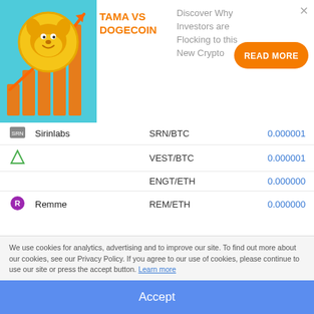[Figure (infographic): Advertisement banner for TAMA VS DOGECOIN crypto comparison with dog coin image and bar chart]
| Icon | Name | Pair | Price |
| --- | --- | --- | --- |
| [icon] | Sirinlabs | SRN/BTC | 0.000001 |
| [icon] |  | VEST/BTC | 0.000001 |
|  |  | ENGT/ETH | 0.000000 |
| [icon] | Remme | REM/ETH | 0.000000 |
| [icon] |  | DMME/BTC | 0.000000 |
| [icon] | Ergo | ERG/BTC | 0.000079 |
| [icon] | Wavesenterprise | WEST/BTC | 0.000004 |
| [icon] | Neutrino Dollar | USDN/USDT | 0.000023 |
We use cookies for analytics, advertising and to improve our site. To find out more about our cookies, see our Privacy Policy. If you agree to our use of cookies, please continue to use our site or press the accept button. Learn more
Accept